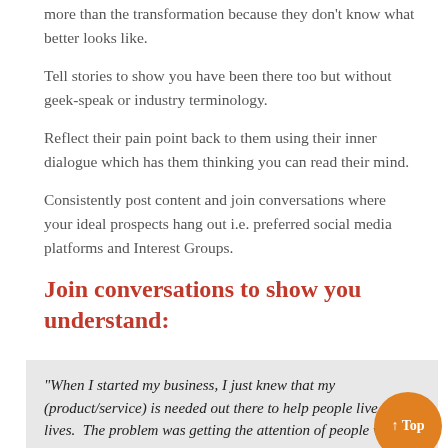more than the transformation because they don't know what better looks like.
Tell stories to show you have been there too but without geek-speak or industry terminology.
Reflect their pain point back to them using their inner dialogue which has them thinking you can read their mind.
Consistently post content and join conversations where your ideal prospects hang out i.e. preferred social media platforms and Interest Groups.
Join conversations to show you understand:
“When I started my business, I just knew that my (product/service) is needed out there to help people live better lives.  The problem was getting the attention of people who were willing to PAY.  This is what I did